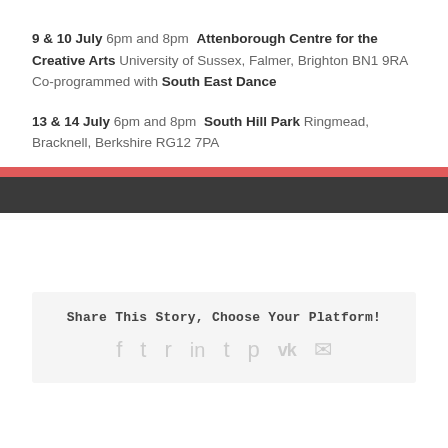9 & 10 July 6pm and 8pm Attenborough Centre for the Creative Arts University of Sussex, Falmer, Brighton BN1 9RA   Co-programmed with South East Dance
13 & 14 July 6pm and 8pm South Hill Park Ringmead, Bracknell, Berkshire RG12 7PA
By Sarah | May 18th, 2016 | Uncategorized | 0 Comments
Share This Story, Choose Your Platform!